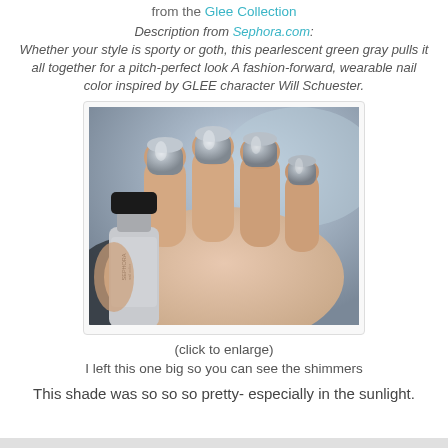from the Glee Collection
Description from Sephora.com: Whether your style is sporty or goth, this pearlescent green gray pulls it all together for a pitch-perfect look A fashion-forward, wearable nail color inspired by GLEE character Will Schuester.
[Figure (photo): A hand holding a Sephora nail polish bottle with pearlescent silver-green-gray nail color applied to the nails]
(click to enlarge)
I left this one big so you can see the shimmers
This shade was so so so pretty- especially in the sunlight.